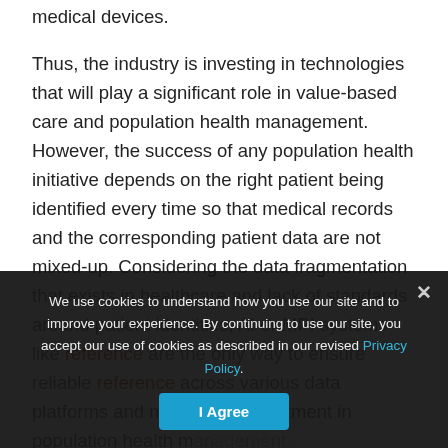medical devices. Thus, the industry is investing in technologies that will play a significant role in value-based care and population health management. However, the success of any population health initiative depends on the right patient being identified every time so that medical records and the corresponding patient data are not mixed-up. Considering the data fragmentation that exists in healthcare and lack of standards around patient identities, AI or MPI systems like [reference] are the only way to ensure reliable [reference] across various data platforms and maximized investment in population health management.
We use cookies to understand how you use our site and to improve your experience. By continuing to use our site, you accept our use of cookies as described in our revised Privacy Policy.